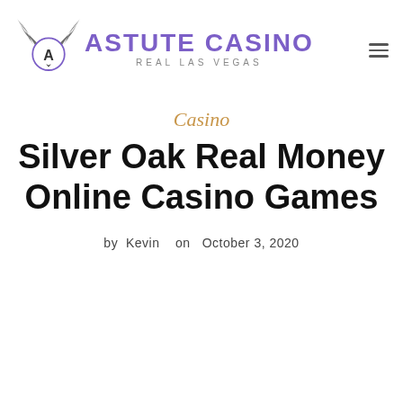ASTUTE CASINO REAL LAS VEGAS
Casino
Silver Oak Real Money Online Casino Games
by Kevin  on  October 3, 2020